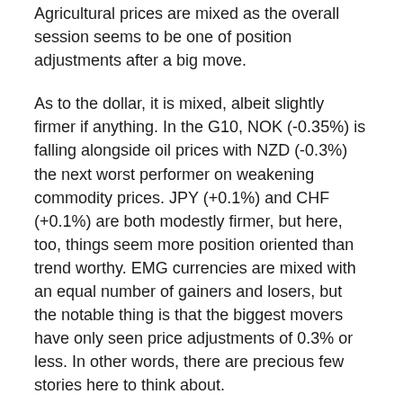Agricultural prices are mixed as the overall session seems to be one of position adjustments after a big move.
As to the dollar, it is mixed, albeit slightly firmer if anything.  In the G10, NOK (-0.35%) is falling alongside oil prices with NZD (-0.3%) the next worst performer on weakening commodity prices.  JPY (+0.1%) and CHF (+0.1%) are both modestly firmer, but here, too, things seem more position oriented than trend worthy.  EMG currencies are mixed with an equal number of gainers and losers, but the notable thing is that the biggest movers have only seen price adjustments of 0.3% or less.  In other words, there are precious few stories here to think about.
There is no data of note this morning, but we do hear from a lot of central bankers, notably Chairman Powell alongside Lagarde, Kuroda and Bailey (BOE) at an ECB